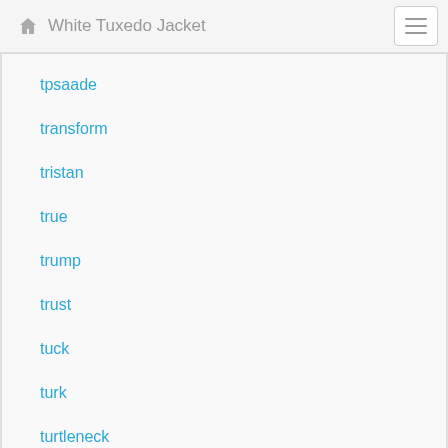White Tuxedo Jacket
tpsaade
transform
tristan
true
trump
trust
tuck
turk
turtleneck
tuxedo